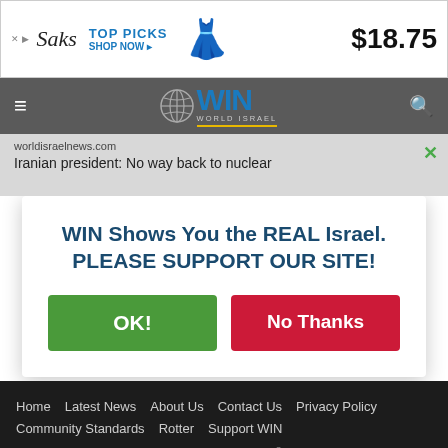[Figure (screenshot): Saks advertisement banner with logo, TOP PICKS SHOP NOW text, dress icon, and price $18.75]
[Figure (screenshot): World Israel News (WIN) navigation bar with hamburger menu, WIN globe logo, and search icon]
worldisraelnews.com
Iranian president: No way back to nuclear
WIN Shows You the REAL Israel. PLEASE SUPPORT OUR SITE!
OK!   No Thanks
Home  Latest News  About Us  Contact Us  Privacy Policy  Community Standards  Rotter  Support WIN  All News ^  |  RSS  |  World Israel News © Copyright 2022